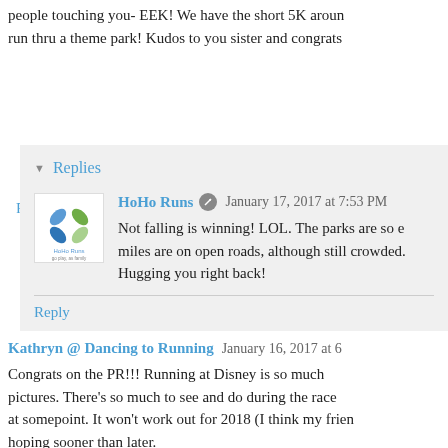people touching you- EEK! We have the short 5K aroun run thru a theme park! Kudos to you sister and congrats
Reply
Replies
HoHo Runs  January 17, 2017 at 7:53 PM
Not falling is winning! LOL. The parks are so e miles are on open roads, although still crowded. Hugging you right back!
Reply
Kathryn @ Dancing to Running  January 16, 2017 at 6
Congrats on the PR!!! Running at Disney is so much pictures. There's so much to see and do during the race at somepoint. It won't work out for 2018 (I think my frien hoping sooner than later.
Reply